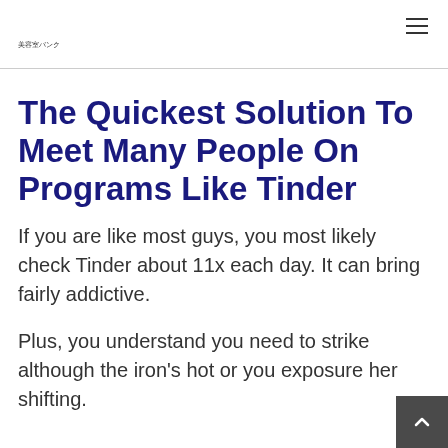美容室バンク
The Quickest Solution To Meet Many People On Programs Like Tinder
If you are like most guys, you most likely check Tinder about 11x each day. It can bring fairly addictive.
Plus, you understand you need to strike although the iron's hot or you exposure her shifting.